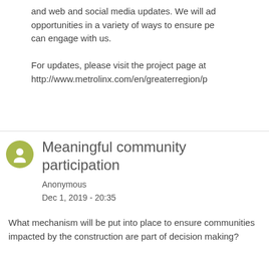and web and social media updates. We will ad opportunities in a variety of ways to ensure pe can engage with us.

For updates, please visit the project page at http://www.metrolinx.com/en/greaterregion/p
Meaningful community participation
Anonymous
Dec 1, 2019 - 20:35
What mechanism will be put into place to ensure communities impacted by the construction are part of decision making?